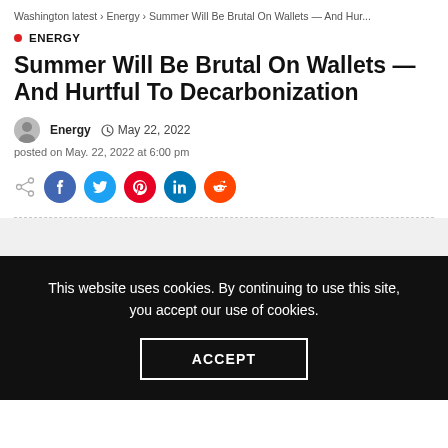Washington latest > Energy > Summer Will Be Brutal On Wallets — And Hur...
ENERGY
Summer Will Be Brutal On Wallets — And Hurtful To Decarbonization
Energy  May 22, 2022
posted on May. 22, 2022 at 6:00 pm
This website uses cookies. By continuing to use this site, you accept our use of cookies.
ACCEPT